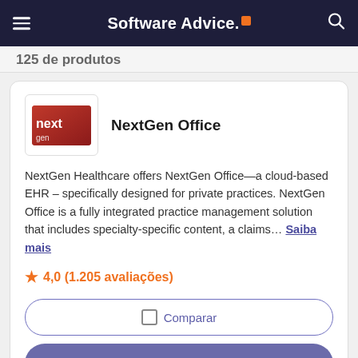Software Advice.
125 de produtos
NextGen Office
NextGen Healthcare offers NextGen Office—a cloud-based EHR – specifically designed for private practices. NextGen Office is a fully integrated practice management solution that includes specialty-specific content, a claims... Saiba mais
4,0 (1.205 avaliações)
Comparar
Saiba mais